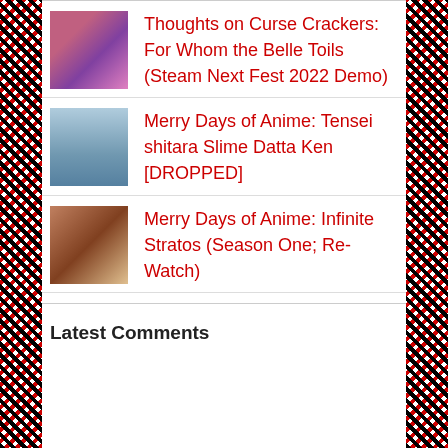Thoughts on Curse Crackers: For Whom the Belle Toils (Steam Next Fest 2022 Demo)
Merry Days of Anime: Tensei shitara Slime Datta Ken [DROPPED]
Merry Days of Anime: Infinite Stratos (Season One; Re-Watch)
Latest Comments